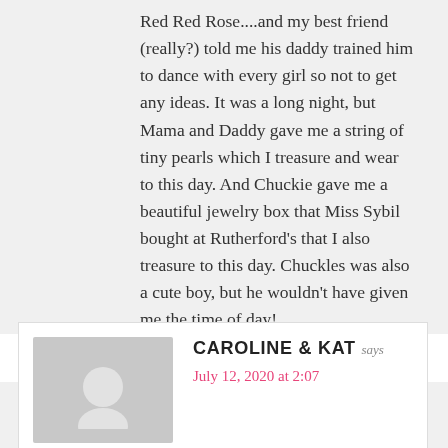Red Red Rose....and my best friend (really?) told me his daddy trained him to dance with every girl so not to get any ideas. It was a long night, but Mama and Daddy gave me a string of tiny pearls which I treasure and wear to this day. And Chuckie gave me a beautiful jewelry box that Miss Sybil bought at Rutherford’s that I also treasure to this day. Chuckles was also a cute boy, but he wouldn’t have given me the time of day!
Reply
[Figure (photo): Gray placeholder avatar with circular head silhouette]
CAROLINE & KAT says
July 12, 2020 at 2:07